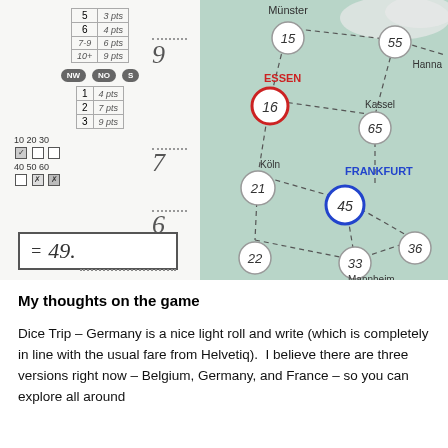[Figure (photo): A board game scoresheet (left) showing scoring rows for 5=3pts, 6=4pts, 7-9=6pts, 10+=9pts with NW/NO/S buttons, rows for 1=4pts, 2=7pts, 3=9pts, checkbox grids for 10/20/30/40/50/60, handwritten scores of 9, 7, 6, and total = 49. Right side shows a map of Germany with city nodes (Münster, Essen circled in red=16, Köln, Kassel, Frankfurt circled in blue=45, Mannheim, etc.) connected by dashed lines with numbers.]
My thoughts on the game
Dice Trip – Germany is a nice light roll and write (which is completely in line with the usual fare from Helvetiq).  I believe there are three versions right now – Belgium, Germany, and France – so you can explore all around